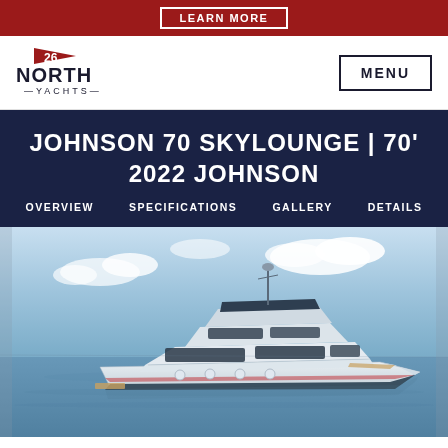LEARN MORE
[Figure (logo): 26 North Yachts logo with flag icon]
JOHNSON 70 SKYLOUNGE | 70' 2022 JOHNSON
OVERVIEW
SPECIFICATIONS
GALLERY
DETAILS
[Figure (illustration): Rendering of a Johnson 70 Skylounge motor yacht on calm water with blue sky and clouds]